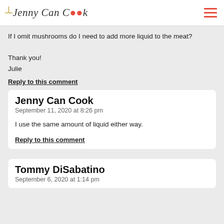Jenny Can Cook
If I omit mushrooms do I need to add more liquid to the meat?

Thank you!
Julie
Reply to this comment
Jenny Can Cook
September 11, 2020 at 8:26 pm
I use the same amount of liquid either way.
Reply to this comment
Tommy DiSabatino
September 6, 2020 at 1:14 pm